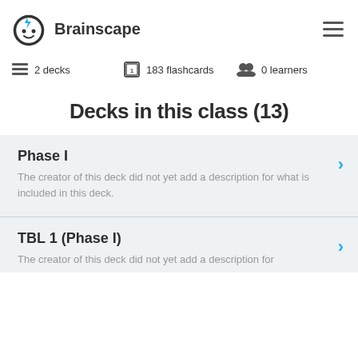Brainscape
2 decks   183 flashcards   0 learners
Decks in this class (13)
Phase I
The creator of this deck did not yet add a description for what is included in this deck.
TBL 1 (Phase I)
The creator of this deck did not yet add a description for